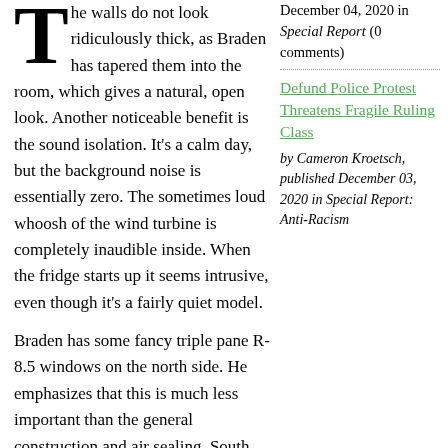The walls do not look ridiculously thick, as Braden has tapered them into the room, which gives a natural, open look. Another noticeable benefit is the sound isolation. It's a calm day, but the background noise is essentially zero. The sometimes loud whoosh of the wind turbine is completely inaudible inside. When the fridge starts up it seems intrusive, even though it's a fairly quiet model.
Braden has some fancy triple pane R-8.5 windows on the north side. He emphasizes that this is much less important than the general construction and air sealing. South windows purposefully have a lower R value, as they are designed for solar gain.
December 04, 2020 in Special Report (0 comments)
Defund Police Protest Threatens Fragile Ruling Class
by Cameron Kroetsch, published December 03, 2020 in Special Report: Anti-Racism